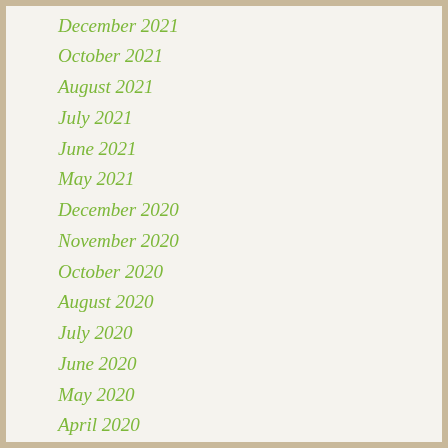December 2021
October 2021
August 2021
July 2021
June 2021
May 2021
December 2020
November 2020
October 2020
August 2020
July 2020
June 2020
May 2020
April 2020
March 2020
November 2019
October 2019
September 2019
August 2019
July 2019